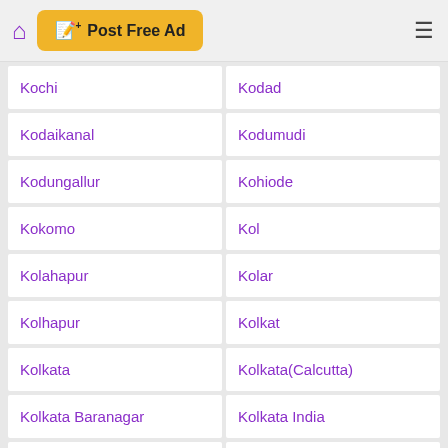Post Free Ad
Kochi
Kodad
Kodaikanal
Kodumudi
Kodungallur
Kohiode
Kokomo
Kol
Kolahapur
Kolar
Kolhapur
Kolkat
Kolkata
Kolkata(Calcutta)
Kolkata Baranagar
Kolkata India
Kolkata West Bengal
Kolkata Westbengal
Kolkatta
Kolkota